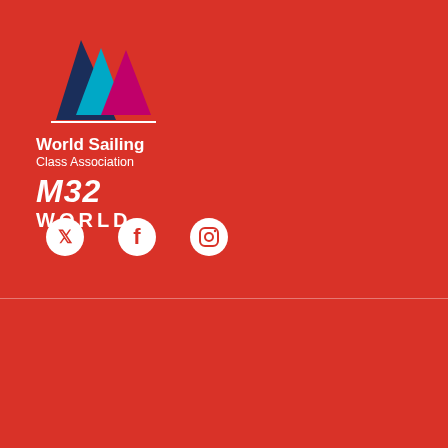[Figure (logo): World Sailing Class Association M32 World logo with sailing boat icon in blue, teal, and magenta on red background, with text 'World Sailing Class Association' and 'M32 WORLD']
[Figure (illustration): Social media icons: Twitter bird, Facebook f, and Instagram camera icons in white circles on red background]
©2022 M32 World
News
Class
Racing